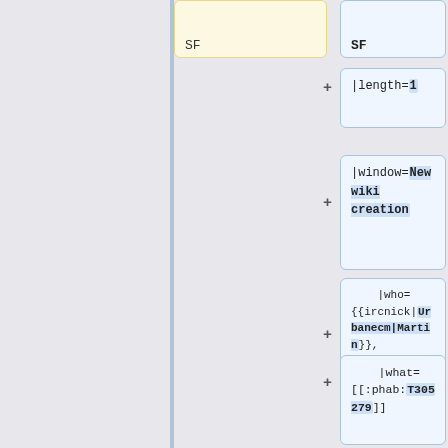[Figure (screenshot): Code diff/flowchart screenshot showing wiki template code blocks with SF labels, length, window, who, and what parameters]
SF
SF
|length=1
|window=New wiki creation
|who= {{ircnick|Urbanecm|Martin}}, {{ircnick|Amir1|Amir}}
|what= [[:phab:T305279]]
}}